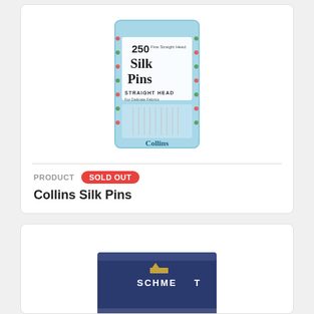[Figure (photo): Product photo of Collins Silk Pins package - a light blue card packaging containing 250 straight head silk pins, with floral border decoration, showing the Collins brand name at the bottom]
PRODUCT   SOLD OUT
Collins Silk Pins
[Figure (photo): Partial product photo of a Schmetz branded dark navy blue box of sewing needles, partially visible at the bottom of the page]